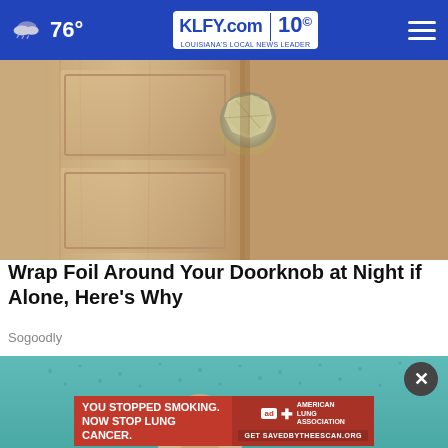76° KLFY.com 10
[Figure (photo): Close-up photo of a door with aluminum foil wrapped around the doorknob]
Wrap Foil Around Your Doorknob at Night if Alone, Here's Why
Sogoodly
[Figure (photo): Second article image with teal background showing a person, partially visible]
[Figure (other): Advertisement banner: YOU STOPPED SMOKING. NOW STOP LUNG CANCER. American Lung Association. Get SAVEDBYTHEESCAN.ORG]